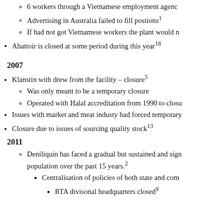6 workers through a Vietnamese employment agency
Advertising in Australia failed to fill postions¹
If had not got Vietnamese workers the plant would n
Abattoir is closed at some period during this year¹⁸
2007
Klanstin with drew from the facility – closure⁵
Was only meant to be a temporary closure
Operated with Halal accreditation from 1990 to closu
Issues with market and meat industy had forced temporary
Closure due to issues of sourcing quality stock¹³
2011
Deniliquin has faced a gradual but sustained and sign population over the past 15 years.²
Centralisation of policies of both state and com
RTA divisonal headquarters closed⁹